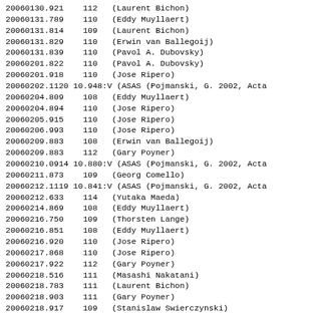20060130.921    112   (Laurent Bichon)
20060131.789    110   (Eddy Muyllaert)
20060131.814    109   (Laurent Bichon)
20060131.829    110   (Erwin van Ballegoij)
20060131.839    110   (Pavol A. Dubovsky)
20060201.822    110   (Pavol A. Dubovsky)
20060201.918    110   (Jose Ripero)
20060202.1120 10.948:V (ASAS (Pojmanski, G. 2002, Acta
20060204.809    108   (Eddy Muyllaert)
20060204.894    110   (Jose Ripero)
20060205.915    110   (Jose Ripero)
20060206.993    110   (Jose Ripero)
20060209.883    108   (Erwin van Ballegoij)
20060209.883    112   (Gary Poyner)
20060210.0914 10.880:V (ASAS (Pojmanski, G. 2002, Acta
20060211.873    109   (Georg Comello)
20060212.1119 10.841:V (ASAS (Pojmanski, G. 2002, Acta
20060212.633    114   (Yutaka Maeda)
20060214.869    108   (Eddy Muyllaert)
20060216.750    109   (Thorsten Lange)
20060216.851    108   (Eddy Muyllaert)
20060216.920    110   (Jose Ripero)
20060217.868    110   (Jose Ripero)
20060217.922    112   (Gary Poyner)
20060218.516    111   (Masashi Nakatani)
20060218.783    111   (Laurent Bichon)
20060218.903    111   (Gary Poyner)
20060218.917    109   (Stanislaw Swierczynski)
20060223.0525 10.628:V (ASAS (Pojmanski, G. 2002, Acta
20060224.812    109   (Georg Comello)